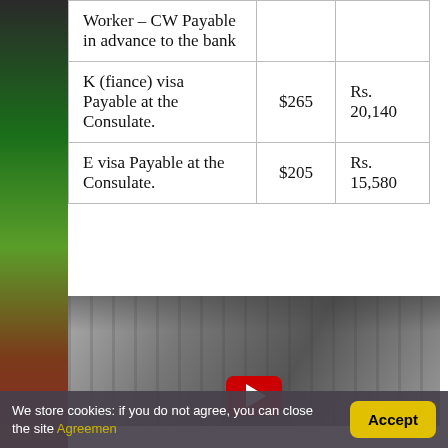| Type | USD | INR |
| --- | --- | --- |
| Worker – CW Payable in advance to the bank |  |  |
| K (fiance) visa Payable at the Consulate. | $265 | Rs. 20,140 |
| E visa Payable at the Consulate. | $205 | Rs. 15,580 |
[Figure (photo): Video thumbnail showing a hand at an ATM/keyboard with a YouTube play button overlay]
We store cookies: if you do not agree, you can close the site Agreemen